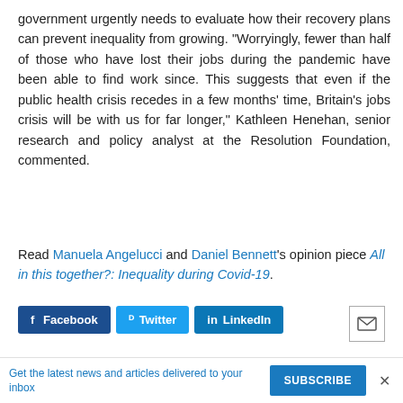government urgently needs to evaluate how their recovery plans can prevent inequality from growing. “Worryingly, fewer than half of those who have lost their jobs during the pandemic have been able to find work since. This suggests that even if the public health crisis recedes in a few months’ time, Britain’s jobs crisis will be with us for far longer,” Kathleen Henehan, senior research and policy analyst at the Resolution Foundation, commented.
Read Manuela Angelucci and Daniel Bennett’s opinion piece All in this together?: Inequality during Covid-19.
[Figure (other): Social sharing buttons: Facebook, Twitter, LinkedIn, and email icon]
[Figure (logo): IZA World of Labor logo and IZA Institute logo]
Get the latest news and articles delivered to your inbox